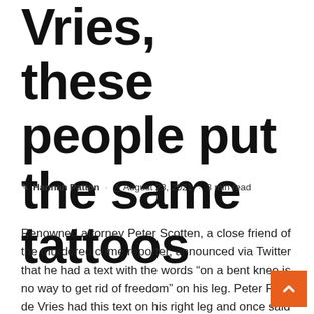Vries, these people put the same tattoos
Hannah Patton · August 23, 2021 · 3 min read
Renowned attorney Peter Scotten, a close friend of the murdered crime reporter, announced via Twitter that he had a text with the words “on a bent knee is no way to get rid of freedom” on his leg. Peter R. de Vries had this text on his right leg and once said of him: “This te means that we are not subject to anyone.”